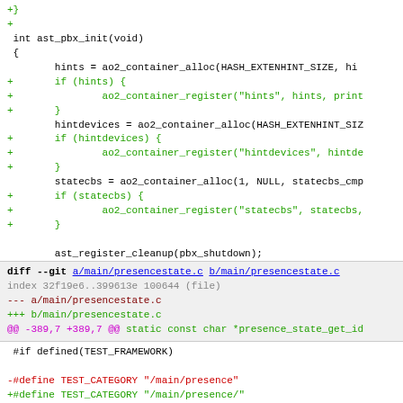code diff showing ast_pbx_init and presencestate.c changes
diff --git a/main/presencestate.c b/main/presencestate.c
index 32f19e6..399613e 100644 (file)
--- a/main/presencestate.c
+++ b/main/presencestate.c
@@ -389,7 +389,7 @@ static const char *presence_state_get_id
 #if defined(TEST_FRAMEWORK)
-#define TEST_CATEGORY "/main/presence"
+#define TEST_CATEGORY "/main/presence/"
static int presence_test_alice_state = AST_PRESENCE_UNAVAIL